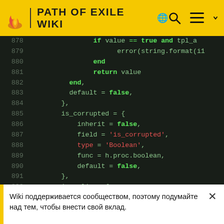PATH OF EXILE WIKI
[Figure (screenshot): Code editor showing Lua/table syntax, lines 878-893, dark theme with green and red syntax highlighting. Displays if-end block, return value, default=false, is_corrupted and is_relic table entries.]
Wiki поддерживается сообществом, поэтому подумайте над тем, чтобы внести свой вклад.